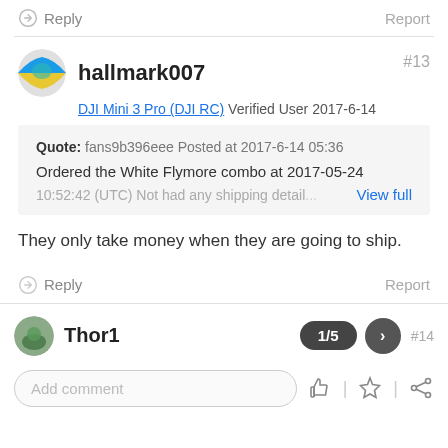Reply   Report
hallmark007 #13
DJI Mini 3 Pro (DJI RC) Verified User 2017-6-14
Quote: fans9b396eee Posted at 2017-6-14 05:36
Ordered the White Flymore combo at 2017-05-24
10:52:42 (UTC) Not had any shipping details... View full
They only take money when they are going to ship.
Reply   Report
Thor1 #14
1/5
Add comment